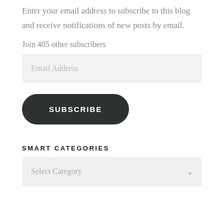Enter your email address to subscribe to this blog and receive notifications of new posts by email.
Join 405 other subscribers
[Figure (other): Email Address input field (light gray background, placeholder text)]
[Figure (other): SUBSCRIBE button (dark rounded pill button with white uppercase text)]
SMART CATEGORIES
[Figure (other): Select Category dropdown (light gray background, placeholder text with chevron arrow)]